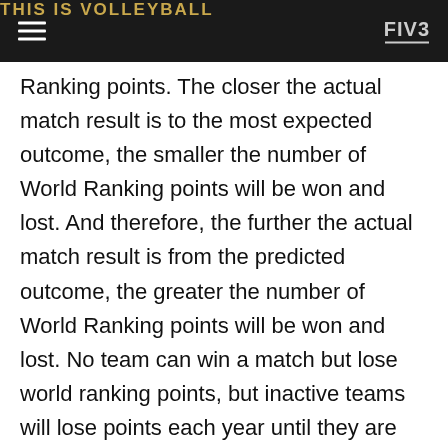THIS IS VOLLEYBALL — FIVB
Ranking points. The closer the actual match result is to the most expected outcome, the smaller the number of World Ranking points will be won and lost. And therefore, the further the actual match result is from the predicted outcome, the greater the number of World Ranking points will be won and lost. No team can win a match but lose world ranking points, but inactive teams will lose points each year until they are eventually removed from the World Ranking.